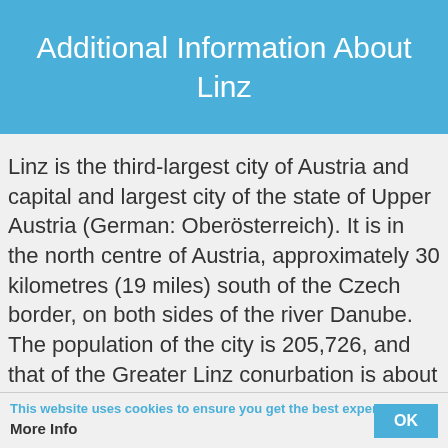Additional Information About Linz
Linz is the third-largest city of Austria and capital and largest city of the state of Upper Austria (German: Oberösterreich). It is in the north centre of Austria, approximately 30 kilometres (19 miles) south of the Czech border, on both sides of the river Danube. The population of the city is 205,726, and that of the Greater Linz conurbation is about 789,811. In 2009 Linz, together with the Lithuanian
This website uses cookies to ensure you get the best experience.
More Info
OK